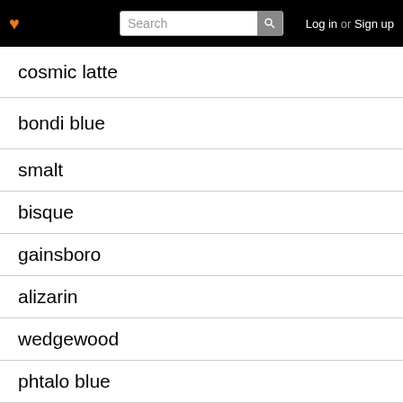❤ Search Log in or Sign up
cosmic latte
bondi blue
smalt
bisque
gainsboro
alizarin
wedgewood
phtalo blue
citrine